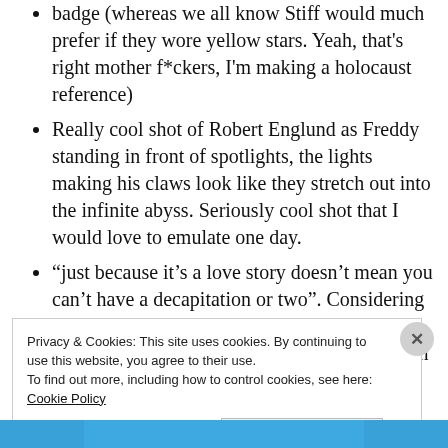badge (whereas we all know Stiff would much prefer if they wore yellow stars. Yeah, that's right mother f*ckers, I'm making a holocaust reference)
Really cool shot of Robert Englund as Freddy standing in front of spotlights, the lights making his claws look like they stretch out into the infinite abyss. Seriously cool shot that I would love to emulate one day.
“just because it’s a love story doesn’t mean you can’t have a decapitation or two”. Considering our first film was a love story set during a school shooting, we wholeheartedly agree with that
Privacy & Cookies: This site uses cookies. By continuing to use this website, you agree to their use.
To find out more, including how to control cookies, see here: Cookie Policy